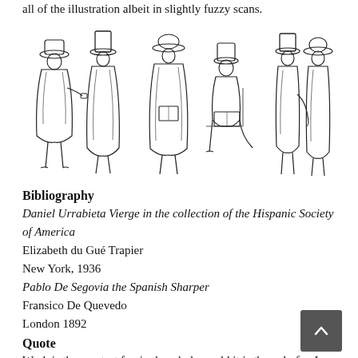all of the illustration albeit in slightly fuzzy scans.
[Figure (illustration): Six pen-and-ink style sketches of Victorian-era male figures wearing capes, top hats, and period clothing in various poses — standing, seated, reading.]
Bibliography
Daniel Urrabieta Vierge in the collection of the Hispanic Society of America
Elizabeth du Gué Trapier
New York, 1936
Pablo De Segovia the Spanish Sharper
Fransico De Quevedo
London 1892
Quote
Work is the greatest fun in the whole world it is the only fun I want to have.